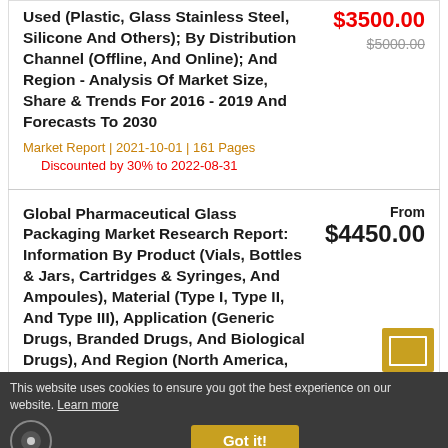Used (Plastic, Glass Stainless Steel, Silicone And Others); By Distribution Channel (Offline, And Online); And Region - Analysis Of Market Size, Share & Trends For 2016 - 2019 And Forecasts To 2030
$3500.00
$5000.00
Market Report | 2021-10-01 | 161 Pages
Discounted by 30% to 2022-08-31
Global Pharmaceutical Glass Packaging Market Research Report: Information By Product (Vials, Bottles & Jars, Cartridges & Syringes, And Ampoules), Material (Type I, Type II, And Type III), Application (Generic Drugs, Branded Drugs, And Biological Drugs), And Region (North America, Europe, Asia-Pacific, South America, Middle East & Africa) - Forecast Till 2026
From $4450.00
This website uses cookies to ensure you got the best experience on our website. Learn more
Got it!